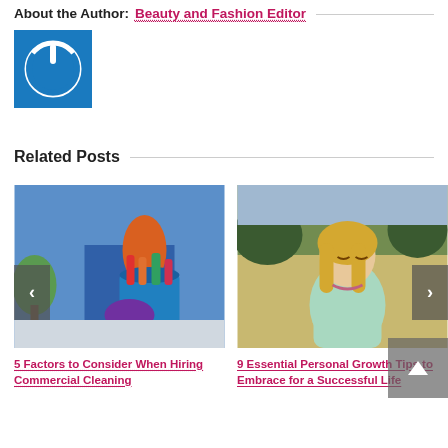About the Author: Beauty and Fashion Editor
[Figure (logo): Blue square logo with white power button icon]
Related Posts
[Figure (photo): Person in blue uniform holding a blue bucket filled with cleaning supplies and wearing orange rubber gloves]
5 Factors to Consider When Hiring Commercial Cleaning
[Figure (photo): Blonde woman with eyes closed sitting peacefully in a grassy field outdoors]
9 Essential Personal Growth Tips to Embrace for a Successful Life